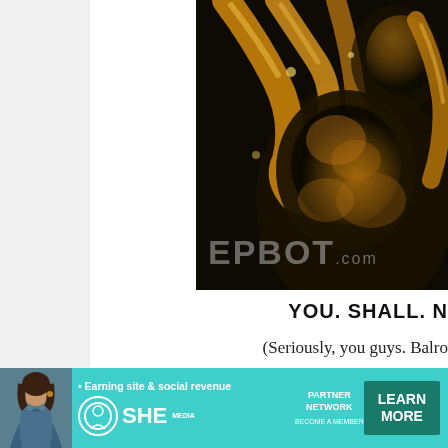[Figure (photo): Close-up photograph of a golden/bronze sculpture or figurine with tentacle-like or decorative elements against a dark background, with EPBOT.com watermark overlaid]
YOU. SHALL. N
(Seriously, you guys. Balro
Hope you liked seeing the finished product, and as alwa
[Figure (other): Advertisement banner for SHE Media Partner Network - teal background with woman photo, text 'Earning site & social revenue', SHE logo, PARTNER NETWORK, BECOME A MEMBER, and LEARN MORE button]